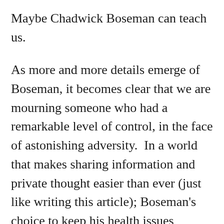Maybe Chadwick Boseman can teach us.
As more and more details emerge of Boseman, it becomes clear that we are mourning someone who had a remarkable level of control, in the face of astonishing adversity.  In a world that makes sharing information and private thought easier than ever (just like writing this article); Boseman's choice to keep his health issues private is all the more inspiring. It reminds us, in a small way, that we don't have to play the Media game if we don't want to. So many people express the need daily for a 'digital detox' when in actuality, we need to remember that we are in